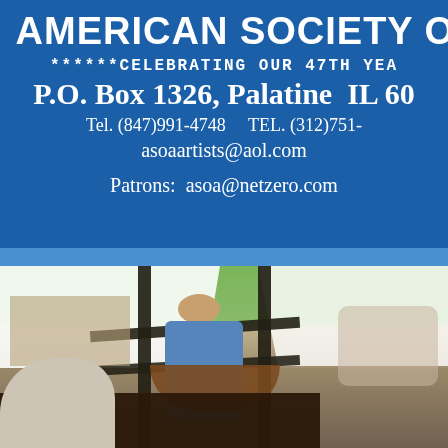AMERICAN SOCIETY OF
******CELEBRATING OUR 47TH YEA
P.O. Box 1326, Palatine  IL 60
Tel. (847)991-4748     TEL. (312)751-
asoaartists@aol.com
Patrons:  asoa@netzero.com
[Figure (photo): Outdoor art fair or market scene with white tents, metal display frames/racks, a person in a blue t-shirt behind a table, a wooden bowl on a table in the foreground, and a person with light/grey hair in the bottom-left foreground. Green trees visible in background.]